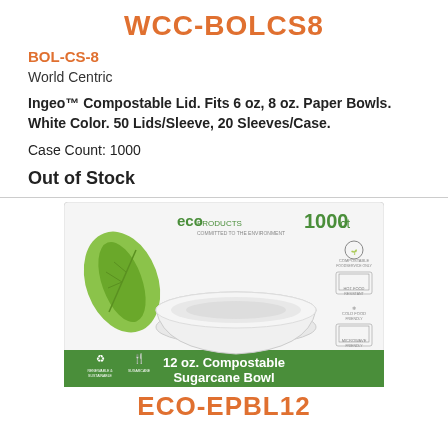WCC-BOLCS8
BOL-CS-8
World Centric
Ingeo™ Compostable Lid. Fits 6 oz, 8 oz. Paper Bowls. White Color. 50 Lids/Sleeve, 20 Sleeves/Case.
Case Count: 1000
Out of Stock
[Figure (photo): Product box of Eco Products 12 oz. Compostable Sugarcane Bowl, 1000 count, with a green leaf logo on the left side of the box.]
ECO-EPBL12